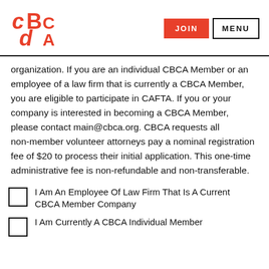[Figure (logo): CBCA logo in red with stylized letters C, B, C, A]
organization. If you are an individual CBCA Member or an employee of a law firm that is currently a CBCA Member, you are eligible to participate in CAFTA. If you or your company is interested in becoming a CBCA Member, please contact main@cbca.org. CBCA requests all non-member volunteer attorneys pay a nominal registration fee of $20 to process their initial application. This one-time administrative fee is non-refundable and non-transferable.
I Am An Employee Of Law Firm That Is A Current CBCA Member Company
I Am Currently A CBCA Individual Member